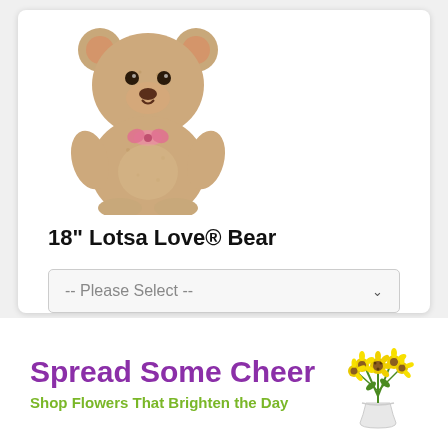[Figure (illustration): Stuffed teddy bear, light brown, sitting position, wearing a pink bow/ribbon on chest]
18" Lotsa Love® Bear
[Figure (screenshot): Dropdown selector with placeholder text '-- Please Select --' and a chevron icon]
[Figure (screenshot): Gray 'Add To Cart' button]
Spread Some Cheer
Shop Flowers That Brighten the Day
[Figure (illustration): Yellow/sunflower bouquet in a white vase]